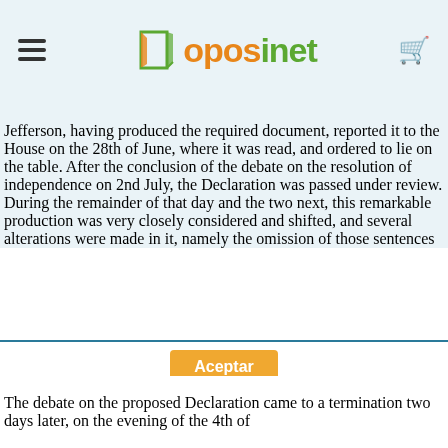oposinet
Jefferson, having produced the required document, reported it to the House on the 28th of June, where it was read, and ordered to lie on the table. After the conclusion of the debate on the resolution of independence on 2nd July, the Declaration was passed under review. During the remainder of that day and the two next, this remarkable production was very closely considered and shifted, and several alterations were made in it, namely the omission of those sentences which reflected upon the English people, and the
Esta web usa cookies.
The debate on the proposed Declaration came to a termination two days later, on the evening of the 4th of